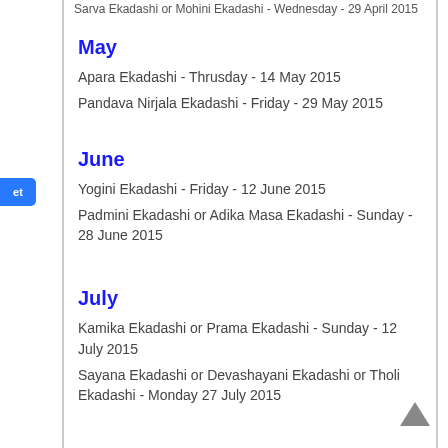Sarva Ekadashi or Mohini Ekadashi - Wednesday - 29 April 2015
May
Apara Ekadashi - Thrusday - 14 May 2015
Pandava Nirjala Ekadashi - Friday - 29 May 2015
June
Yogini Ekadashi - Friday - 12 June 2015
Padmini Ekadashi or Adika Masa Ekadashi - Sunday - 28 June 2015
July
Kamika Ekadashi or Prama Ekadashi - Sunday - 12 July 2015
Sayana Ekadashi or Devashayani Ekadashi or Tholi Ekadashi - Monday 27 July 2015
August